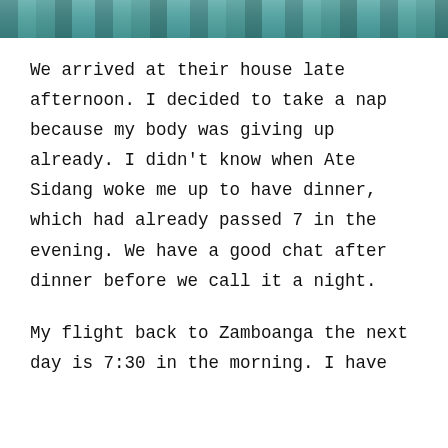[Figure (photo): Top strip of a photograph showing a water/nature scene with green and teal tones]
We arrived at their house late afternoon. I decided to take a nap because my body was giving up already. I didn't know when Ate Sidang woke me up to have dinner, which had already passed 7 in the evening. We have a good chat after dinner before we call it a night.
My flight back to Zamboanga the next day is 7:30 in the morning. I have